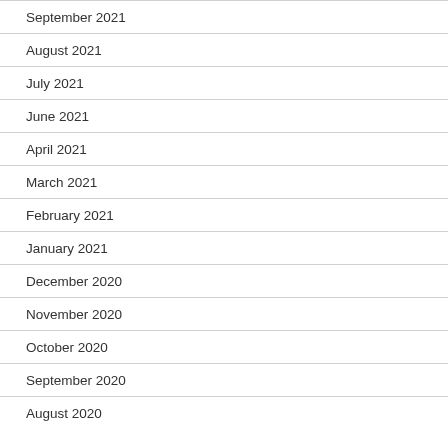September 2021
August 2021
July 2021
June 2021
April 2021
March 2021
February 2021
January 2021
December 2020
November 2020
October 2020
September 2020
August 2020